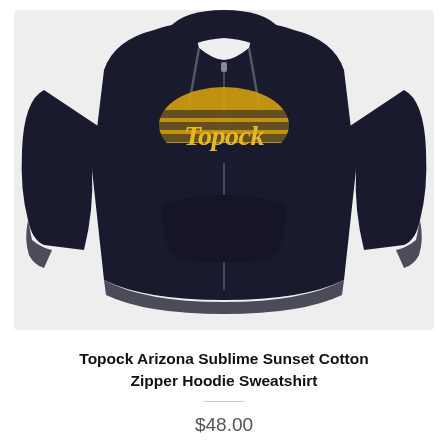[Figure (photo): A black zip-up hoodie sweatshirt displayed flat on a light gray background. The hoodie features a yellow graphic logo on the chest that reads 'Topock' in retro script with a sunset arc design above it.]
Topock Arizona Sublime Sunset Cotton Zipper Hoodie Sweatshirt
$48.00